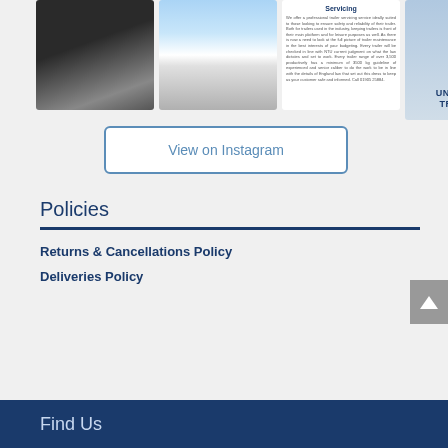[Figure (photo): Row of four Instagram images: black horse trailer/box, boat on trailer, text post about Servicing, and Universal Trailers building exterior]
View on Instagram
Policies
Returns & Cancellations Policy
Deliveries Policy
Find Us